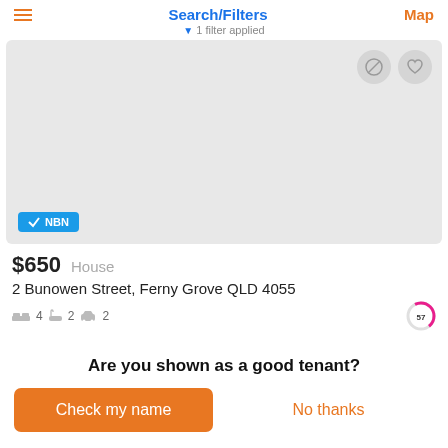Search/Filters
1 filter applied
[Figure (screenshot): Listing card image area — light grey placeholder with NBN badge at bottom left and action buttons (block, heart) at top right]
$650  House
2 Bunowen Street, Ferny Grove QLD 4055
Are you shown as a good tenant?
Check my name
No thanks